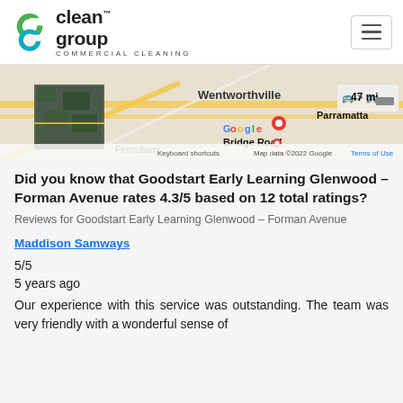clean group COMMERCIAL CLEANING
[Figure (map): Google Maps screenshot showing Wentworthville, Bridge Road, Femulwuy, Parramatta area with a distance indicator of 47 mi. Map data ©2022 Google.]
Did you know that Goodstart Early Learning Glenwood – Forman Avenue rates 4.3/5 based on 12 total ratings?
Reviews for Goodstart Early Learning Glenwood – Forman Avenue
Maddison Samways
5/5
5 years ago
Our experience with this service was outstanding. The team was very friendly with a wonderful sense of